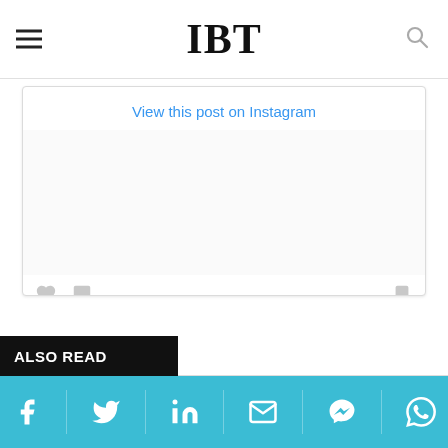IBT
View this post on Instagram
#shraddhakapoor today for #SushantSinghRajput funeral #rip ?
A post shared by Viral Bhayani (@viralbhayani) on J...
ALSO READ
[Figure (screenshot): Social media share bar with Facebook, Twitter, LinkedIn, Email, Messenger, and WhatsApp icons on a teal/cyan background]